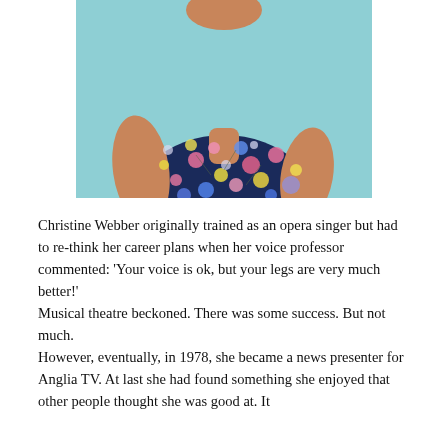[Figure (photo): Photograph of Christine Webber, a woman wearing a navy floral top with pink, yellow and blue flowers, against a light teal/blue background. The photo is cropped to show her from approximately the waist up.]
Christine Webber originally trained as an opera singer but had to re-think her career plans when her voice professor commented: 'Your voice is ok, but your legs are very much better!'
Musical theatre beckoned. There was some success. But not much.
However, eventually, in 1978, she became a news presenter for Anglia TV. At last she had found something she enjoyed that other people thought she was good at. It